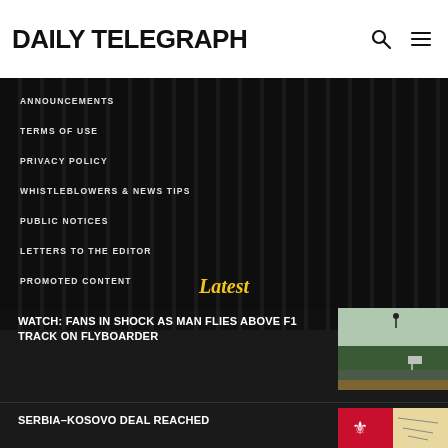DAILY TELEGRAPH
ANNOUNCEMENTS
TERMS OF USE
PRIVACY POLICY
WHISTLEBLOWERS & NEWS TIPS
PUBLIC NOTICES
LETTERS TO THE EDITOR
PROMOTED CONTENT
Latest
WATCH: FANS IN SHOCK AS MAN FLIES ABOVE F1 TRACK ON FLYBOARDER
[Figure (photo): F1 track with person flying above on a flyboard, trees in background, spectators visible]
SERBIA-KOSOVO DEAL REACHED
[Figure (photo): Map/flag image related to Serbia-Kosovo]